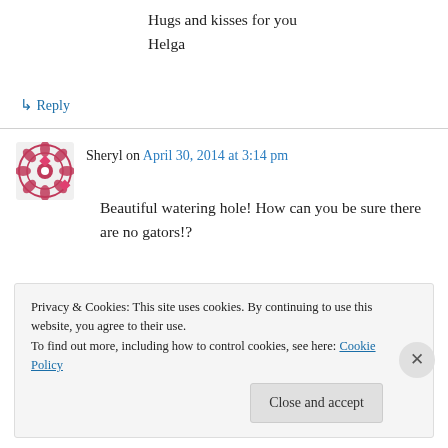Hugs and kisses for you
Helga
↳ Reply
Sheryl on April 30, 2014 at 3:14 pm
Beautiful watering hole! How can you be sure there are no gators!?
↳ Reply
Privacy & Cookies: This site uses cookies. By continuing to use this website, you agree to their use.
To find out more, including how to control cookies, see here: Cookie Policy
Close and accept